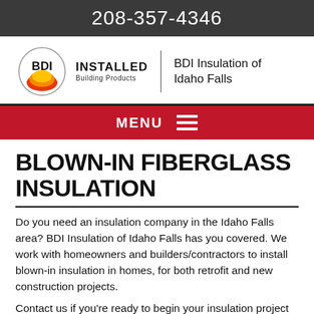208-357-4346
[Figure (logo): BDI Installed Building Products logo with circular orange/red flame design, text 'INSTALLED Building Products', vertical divider, and 'BDI Insulation of Idaho Falls' company name]
MENU
BLOWN-IN FIBERGLASS INSULATION
Do you need an insulation company in the Idaho Falls area? BDI Insulation of Idaho Falls has you covered. We work with homeowners and builders/contractors to install blown-in insulation in homes, for both retrofit and new construction projects.
Contact us if you're ready to begin your insulation project